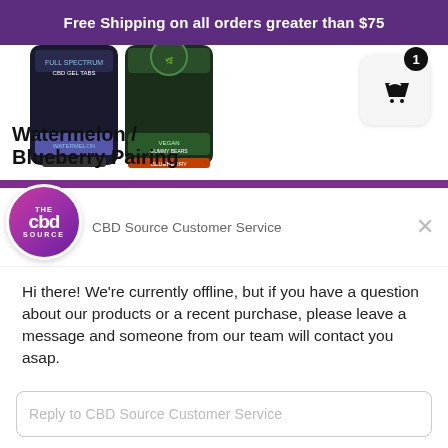Free Shipping on all orders greater than $75
[Figure (photo): Two CBD product jars (watermelon and blueberry varieties) partially visible at the top of the page]
[Figure (other): Shopping cart icon button with badge showing count 1]
Watermelon / Blueberry Pairing
[Figure (logo): The CBD Source circular logo with purple/pink gradient]
CBD Source Customer Service
Hi there! We're currently offline, but if you have a question about our products or a recent purchase, please leave a message and someone from our team will contact you asap.
Reply to CBD Source Customer Service
Chat ⚡ by Drift